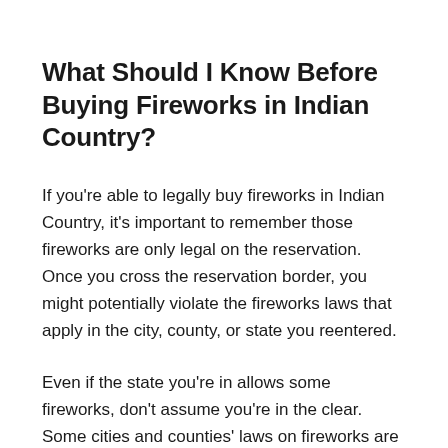What Should I Know Before Buying Fireworks in Indian Country?
If you're able to legally buy fireworks in Indian Country, it's important to remember those fireworks are only legal on the reservation. Once you cross the reservation border, you might potentially violate the fireworks laws that apply in the city, county, or state you reentered.
Even if the state you're in allows some fireworks, don't assume you're in the clear. Some cities and counties' laws on fireworks are more restrictive than